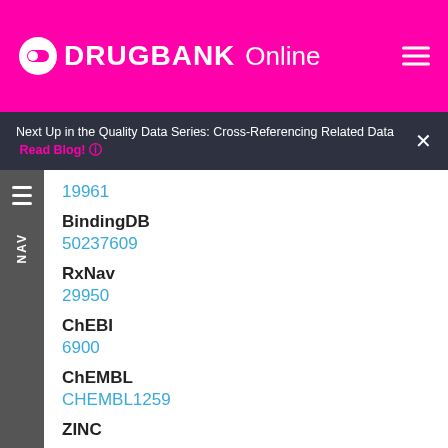DRUGBANK Online
Next Up in the Quality Data Series: Cross-Referencing Related Data  Read Blog!  ×
19961
BindingDB
50237609
RxNav
29950
ChEBI
6900
ChEMBL
CHEMBL1259
ZINC